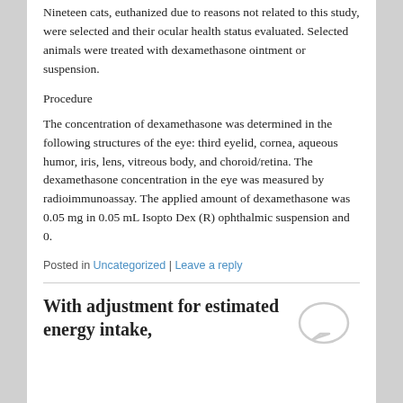Nineteen cats, euthanized due to reasons not related to this study, were selected and their ocular health status evaluated. Selected animals were treated with dexamethasone ointment or suspension.
Procedure
The concentration of dexamethasone was determined in the following structures of the eye: third eyelid, cornea, aqueous humor, iris, lens, vitreous body, and choroid/retina. The dexamethasone concentration in the eye was measured by radioimmunoassay. The applied amount of dexamethasone was 0.05 mg in 0.05 mL Isopto Dex (R) ophthalmic suspension and 0.
Posted in Uncategorized | Leave a reply
With adjustment for estimated energy intake,